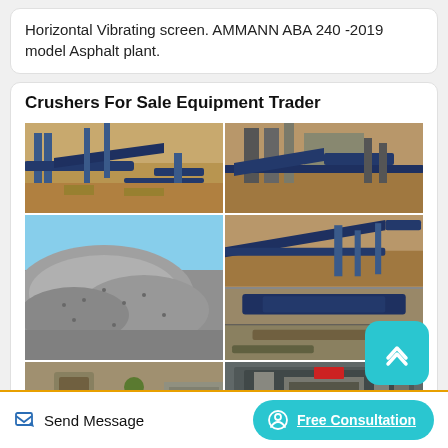Horizontal Vibrating screen. AMMANN ABA 240 -2019 model Asphalt plant.
Crushers For Sale Equipment Trader
[Figure (photo): Grid of 6 photos showing crusher and quarry equipment: conveyor belts, aggregate piles, machinery at construction/mining sites.]
Send Message
Free Consultation